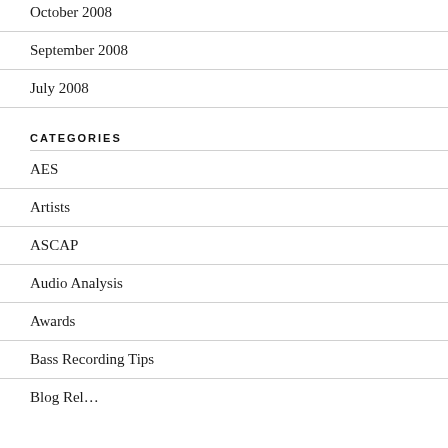October 2008
September 2008
July 2008
CATEGORIES
AES
Artists
ASCAP
Audio Analysis
Awards
Bass Recording Tips
Blog Rel…